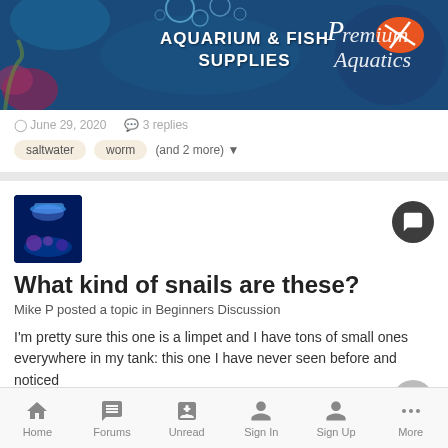[Figure (screenshot): Aquarium & Fish Supplies banner ad for Premium Aquatics, featuring underwater blue background with bubbles, coral, and a clownfish logo]
June 29, 2020   3 replies
saltwater   worm   (and 2 more)
What kind of snails are these?
Mike P posted a topic in Beginners Discussion
I'm pretty sure this one is a limpet and I have tons of small ones everywhere in my tank: this one I have never seen before and noticed
June 18, 2020   3 replies   snail   id